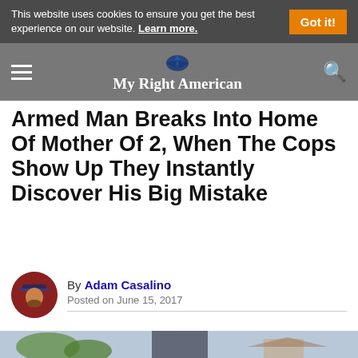This website uses cookies to ensure you get the best experience on our website. Learn more. Got it!
[Figure (logo): My Right American website logo with patriot icon and site name]
Armed Man Breaks Into Home Of Mother Of 2, When The Cops Show Up They Instantly Discover His Big Mistake
By Adam Casalino
Posted on June 15, 2017
[Figure (photo): A police officer in dark uniform standing outdoors near a residential building, trees and other officers visible in background]